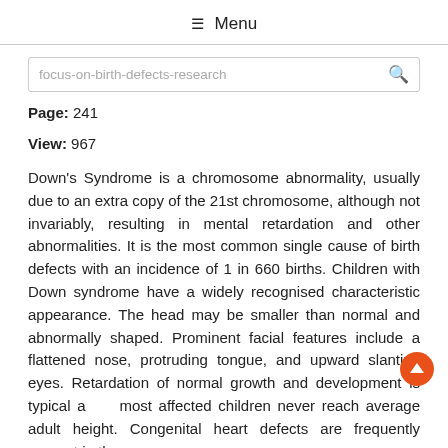≡ Menu
focus-on-birth-defects-research
Page: 241
View: 967
Down's Syndrome is a chromosome abnormality, usually due to an extra copy of the 21st chromosome, although not invariably, resulting in mental retardation and other abnormalities. It is the most common single cause of birth defects with an incidence of 1 in 660 births. Children with Down syndrome have a widely recognised characteristic appearance. The head may be smaller than normal and abnormally shaped. Prominent facial features include a flattened nose, protruding tongue, and upward slanting eyes. Retardation of normal growth and development is typical and most affected children never reach average adult height. Congenital heart defects are frequently present in these